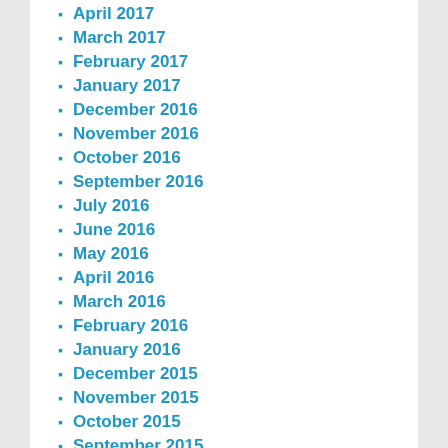April 2017
March 2017
February 2017
January 2017
December 2016
November 2016
October 2016
September 2016
July 2016
June 2016
May 2016
April 2016
March 2016
February 2016
January 2016
December 2015
November 2015
October 2015
September 2015
August 2015
July 2015
May 2015